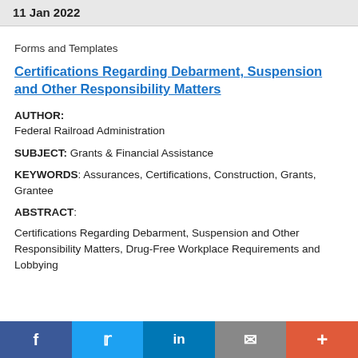11 Jan 2022
Forms and Templates
Certifications Regarding Debarment, Suspension and Other Responsibility Matters
AUTHOR: Federal Railroad Administration
SUBJECT: Grants & Financial Assistance
KEYWORDS: Assurances, Certifications, Construction, Grants, Grantee
ABSTRACT: Certifications Regarding Debarment, Suspension and Other Responsibility Matters, Drug-Free Workplace Requirements and Lobbying